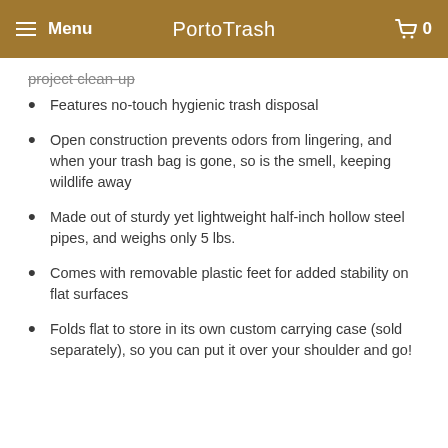Menu | PortoTrash | 0
project clean-up
Features no-touch hygienic trash disposal
Open construction prevents odors from lingering, and when your trash bag is gone, so is the smell, keeping wildlife away
Made out of sturdy yet lightweight half-inch hollow steel pipes, and weighs only 5 lbs.
Comes with removable plastic feet for added stability on flat surfaces
Folds flat to store in its own custom carrying case (sold separately), so you can put it over your shoulder and go!